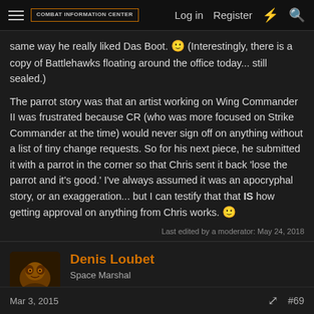COMBAT INFORMATION CENTER | Log in | Register
same way he really liked Das Boot. 🙂 (Interestingly, there is a copy of Battlehawks floating around the office today... still sealed.)

The parrot story was that an artist working on Wing Commander II was frustrated because CR (who was more focused on Strike Commander at the time) would never sign off on anything without a list of tiny change requests. So for his next piece, he submitted it with a parrot in the corner so that Chris sent it back 'lose the parrot and it's good.' I've always assumed it was an apocryphal story, or an exaggeration... but I can testify that that IS how getting approval on anything from Chris works. 🙂
Last edited by a moderator: May 24, 2018
Denis Loubet
Space Marshal
Mar 3, 2015 | #69